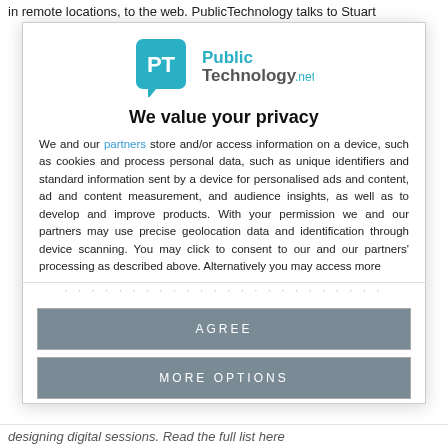in remote locations, to the web. PublicTechnology talks to Stuart
[Figure (logo): PublicTechnology.net logo — PT icon in teal speech bubble with 'Public Technology.net' text]
We value your privacy
We and our partners store and/or access information on a device, such as cookies and process personal data, such as unique identifiers and standard information sent by a device for personalised ads and content, ad and content measurement, and audience insights, as well as to develop and improve products. With your permission we and our partners may use precise geolocation data and identification through device scanning. You may click to consent to our and our partners' processing as described above. Alternatively you may access more
AGREE
MORE OPTIONS
designing digital sessions. Read the full list here